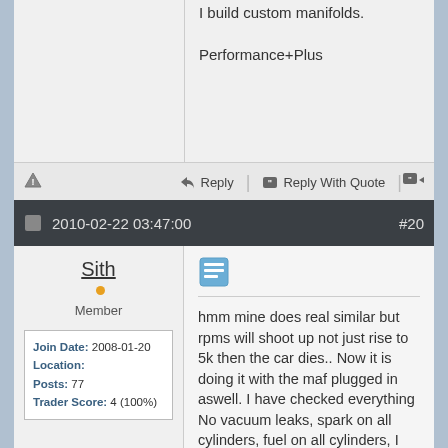I build custom manifolds.

Performance+Plus
Reply | Reply With Quote
2010-02-22 03:47:00  #20
Sith
Member
Join Date: 2008-01-20
Location:
Posts: 77
Trader Score: 4 (100%)
hmm mine does real similar but rpms will shoot up not just rise to 5k then the car dies.. Now it is doing it with the maf plugged in aswell. I have checked everything
No vacuum leaks, spark on all cylinders, fuel on all cylinders, I can unplug a plug cable or injector on 2 cylinders, doesn't matter which 2 and teh car runs the same. Timing is on with cams and